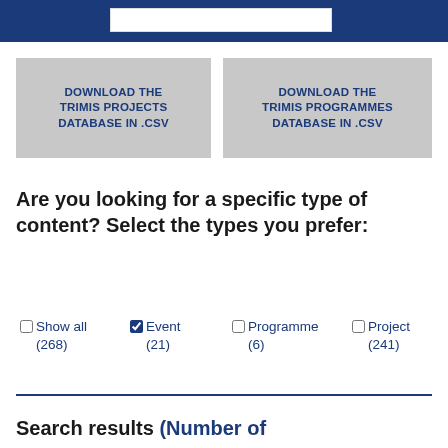[Figure (screenshot): Blue header bar with white search input box]
DOWNLOAD THE TRIMIS PROJECTS DATABASE IN .CSV
DOWNLOAD THE TRIMIS PROGRAMMES DATABASE IN .CSV
Are you looking for a specific type of content? Select the types you prefer:
Show all (268)
Event (21)
Programme (6)
Project (241)
Search results (Number of